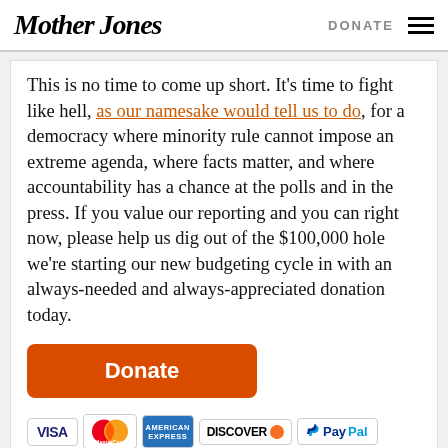Mother Jones | DONATE
This is no time to come up short. It's time to fight like hell, as our namesake would tell us to do, for a democracy where minority rule cannot impose an extreme agenda, where facts matter, and where accountability has a chance at the polls and in the press. If you value our reporting and you can right now, please help us dig out of the $100,000 hole we're starting our new budgeting cycle in with an always-needed and always-appreciated donation today.
[Figure (other): Orange Donate button]
[Figure (other): Payment method icons: VISA, MasterCard, American Express, Discover, PayPal]